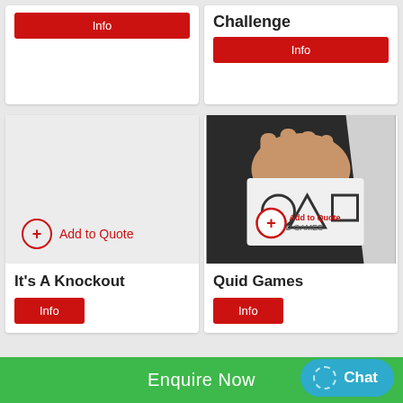[Figure (screenshot): Top-left card showing Info button (partial, cropped)]
[Figure (screenshot): Top-right card showing 'Challenge' title and Info button (partial, cropped)]
[Figure (screenshot): Bottom-left card with 'Add to Quote' button and 'It's A Knockout' product card with Info button]
[Figure (photo): Bottom-right card showing hand holding Quid Games card with circle, triangle, square symbols, 'Add to Quote' overlay, 'Quid Games' title and Info button]
Enquire Now
Chat